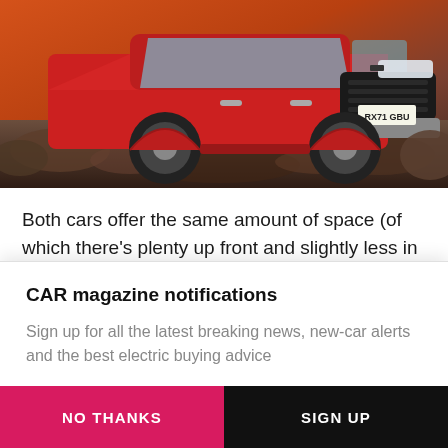[Figure (photo): A red Jeep Compass SUV with license plate RX71 GBU photographed on rocky terrain with dramatic sunset lighting in the background.]
Both cars offer the same amount of space (of which there's plenty up front and slightly less in the rear), and both have comparable levels of equipment. Every variant gets the
CAR magazine notifications
Sign up for all the latest breaking news, new-car alerts and the best electric buying advice
NO THANKS
SIGN UP